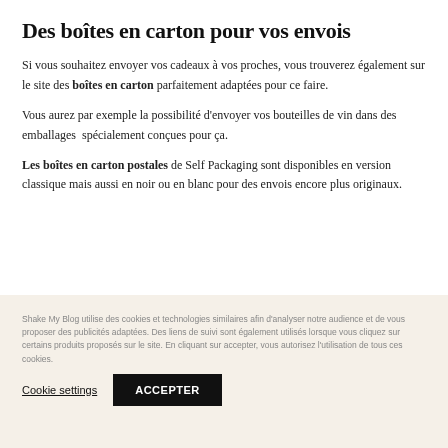Des boîtes en carton pour vos envois
Si vous souhaitez envoyer vos cadeaux à vos proches, vous trouverez également sur le site des boîtes en carton parfaitement adaptées pour ce faire.
Vous aurez par exemple la possibilité d'envoyer vos bouteilles de vin dans des emballages  spécialement conçues pour ça.
Les boîtes en carton postales de Self Packaging sont disponibles en version classique mais aussi en noir ou en blanc pour des envois encore plus originaux.
Shake My Blog utilise des cookies et technologies similaires afin d'analyser notre audience et de vous proposer des publicités adaptées. Des liens de suivi sont également utilisés lorsque vous cliquez sur certains produits proposés sur le site. En cliquant sur accepter, vous autorisez l'utilisation de tous ces cookies.
Cookie settings
ACCEPTER